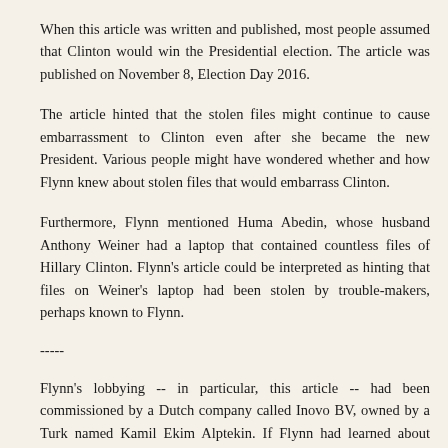When this article was written and published, most people assumed that Clinton would win the Presidential election. The article was published on November 8, Election Day 2016.
The article hinted that the stolen files might continue to cause embarrassment to Clinton even after she became the new President. Various people might have wondered whether and how Flynn knew about stolen files that would embarrass Clinton.
Furthermore, Flynn mentioned Huma Abedin, whose husband Anthony Weiner had a laptop that contained countless files of Hillary Clinton. Flynn's article could be interpreted as hinting that files on Weiner's laptop had been stolen by trouble-makers, perhaps known to Flynn.
-----
Flynn's lobbying -- in particular, this article -- had been commissioned by a Dutch company called Inovo BV, owned by a Turk named Kamil Ekim Alptekin. If Flynn had learned about stolen files that might embarrass Clinton, his sources of